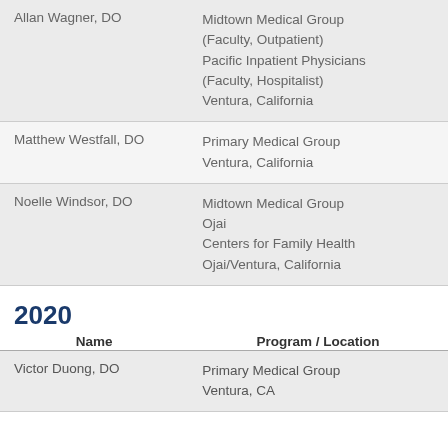| Name | Program / Location |
| --- | --- |
| Allan Wagner, DO | Midtown Medical Group (Faculty, Outpatient)
Pacific Inpatient Physicians (Faculty, Hospitalist)
Ventura, California |
| Matthew Westfall, DO | Primary Medical Group
Ventura, California |
| Noelle Windsor, DO | Midtown Medical Group Ojai
Centers for Family Health
Ojai/Ventura, California |
2020
| Name | Program / Location |
| --- | --- |
| Victor Duong, DO | Primary Medical Group
Ventura, CA |